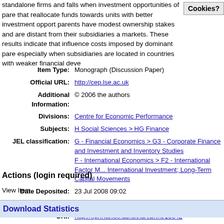standalone firms and falls when investment opportunities of pare... that reallocate funds towards units with better investment opport... parents have modest ownership stakes and are distant from their subsidiaries a... markets. These results indicate that influence costs imposed by dominant pare... especially when subsidiaries are located in countries with weaker financial deve...
| Field | Value |
| --- | --- |
| Item Type: | Monograph (Discussion Paper) |
| Official URL: | http://cep.lse.ac.uk |
| Additional Information: | © 2006 the authors |
| Divisions: | Centre for Economic Performance |
| Subjects: | H Social Sciences > HG Finance |
| JEL classification: | G - Financial Economics > G3 - Corporate Finance and Investment and Inventory Studies
F - International Economics > F2 - International Factor M... International Investment; Long-Term Capital Movements... |
| Date Deposited: | 23 Jul 2008 09:02 |
| Last Modified: | 26 Apr 2021 11:54 |
| URI: | http://eprints.lse.ac.uk/id/eprint/19842 |
Actions (login required)
View Item
Download Statistics